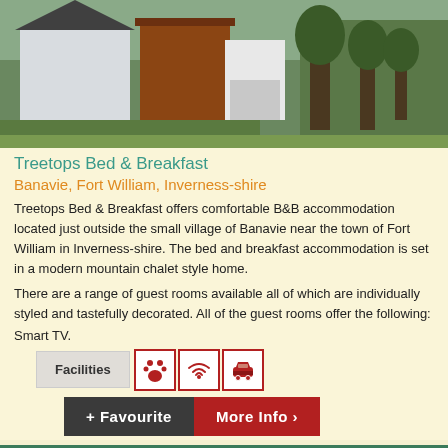[Figure (photo): Exterior photo of Treetops Bed & Breakfast showing a modern chalet-style home with wooden cladding, white walls, surrounded by trees and greenery.]
Treetops Bed & Breakfast
Banavie, Fort William, Inverness-shire
Treetops Bed & Breakfast offers comfortable B&B accommodation located just outside the small village of Banavie near the town of Fort William in Inverness-shire. The bed and breakfast accommodation is set in a modern mountain chalet style home.
There are a range of guest rooms available all of which are individually styled and tastefully decorated. All of the guest rooms offer the following:
Smart TV.
Facilities [pet-friendly icon] [wifi icon] [parking icon]
+ Favourite   More Info >